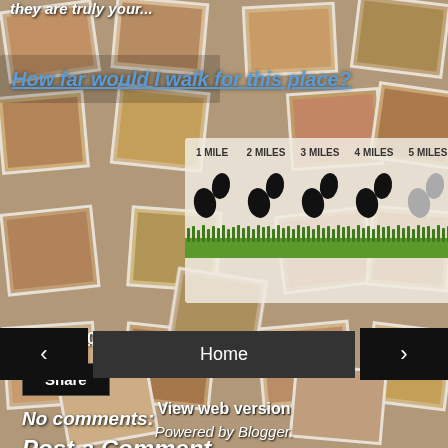[Figure (photo): Background collage of food photos (various dishes, tilted at angles) covering the entire page]
How far would I walk for this place?
[Figure (infographic): Walking distance graphic with footprint icons and labels: 1 MILE, 2 MILES, 3 MILES, 4 MILES, 5 MILES, with progressively fading footprints and green grass strip at the bottom]
Joe at 4:05 PM
Share
No comments:
Post a Comment
Home
View web version
Powered by Blogger.